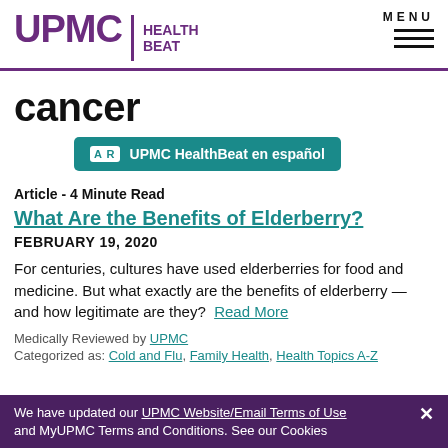UPMC HEALTH BEAT | MENU
cancer
[Figure (infographic): UPMC HealthBeat en español button with AR icon]
Article - 4 Minute Read
What Are the Benefits of Elderberry?
FEBRUARY 19, 2020
For centuries, cultures have used elderberries for food and medicine. But what exactly are the benefits of elderberry — and how legitimate are they? Read More
Medically Reviewed by UPMC
Categorized as: Cold and Flu, Family Health, Health Topics A-Z
We have updated our UPMC Website/Email Terms of Use and MyUPMC Terms and Conditions. See our Cookies